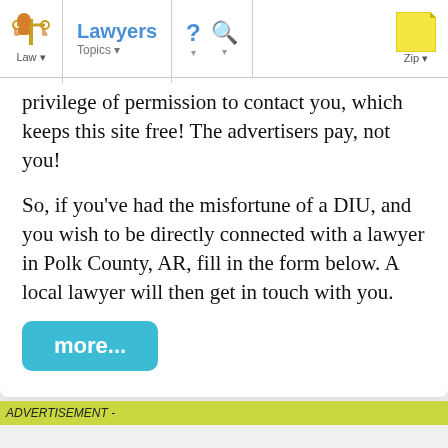Lawyers | Law | Topics | ? | Search | Zip
privilege of permission to contact you, which keeps this site free! The advertisers pay, not you!
So, if you've had the misfortune of a DIU, and you wish to be directly connected with a lawyer in Polk County, AR, fill in the form below. A local lawyer will then get in touch with you.
more...
ADVERTISEMENT -